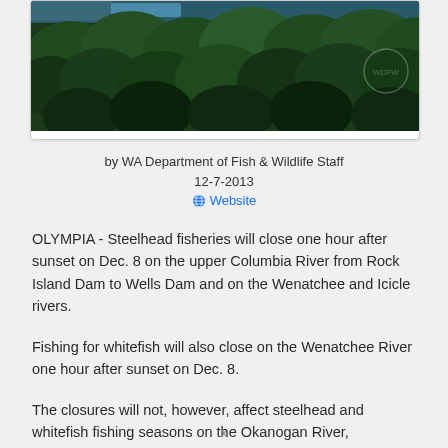[Figure (photo): Aerial view of a forested area with a river or water body visible through the trees, showing dense green forest canopy from above.]
by WA Department of Fish & Wildlife Staff
12-7-2013
🌐 Website
OLYMPIA - Steelhead fisheries will close one hour after sunset on Dec. 8 on the upper Columbia River from Rock Island Dam to Wells Dam and on the Wenatchee and Icicle rivers.
Fishing for whitefish will also close on the Wenatchee River one hour after sunset on Dec. 8.
The closures will not, however, affect steelhead and whitefish fishing seasons on the Okanogan River, Similkamoon River,